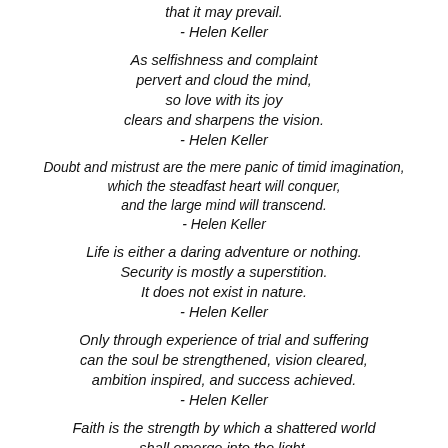that it may prevail.
- Helen Keller
As selfishness and complaint pervert and cloud the mind, so love with its joy clears and sharpens the vision.
- Helen Keller
Doubt and mistrust are the mere panic of timid imagination, which the steadfast heart will conquer, and the large mind will transcend.
- Helen Keller
Life is either a daring adventure or nothing. Security is mostly a superstition. It does not exist in nature.
- Helen Keller
Only through experience of trial and suffering can the soul be strengthened, vision cleared, ambition inspired, and success achieved.
- Helen Keller
Faith is the strength by which a shattered world shall emerge into the light.